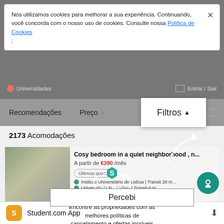[Figure (screenshot): Screenshot of Student.com website listing accommodations in Lisbon, Portugal. Shows a cookie consent banner, filter options including 'Filtros', a listing count of 2173 Acomodações, a property listing 'Cosy bedroom in a quiet neighborhood', price €390/mês, a Student.com Guarantee overlay, a 'Percebi' confirmation button, and Student.com App download bar at the bottom.]